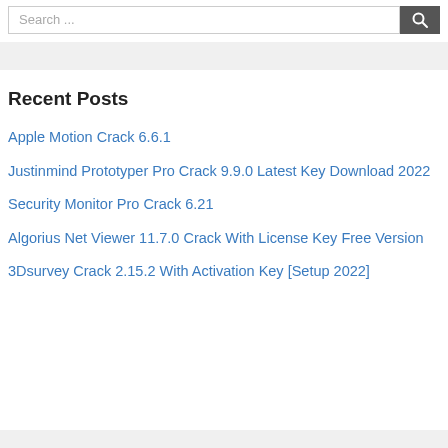[Figure (screenshot): Search bar with text input showing 'Search ...' placeholder and a dark search button with magnifying glass icon]
Recent Posts
Apple Motion Crack 6.6.1
Justinmind Prototyper Pro Crack 9.9.0 Latest Key Download 2022
Security Monitor Pro Crack 6.21
Algorius Net Viewer 11.7.0 Crack With License Key Free Version
3Dsurvey Crack 2.15.2 With Activation Key [Setup 2022]